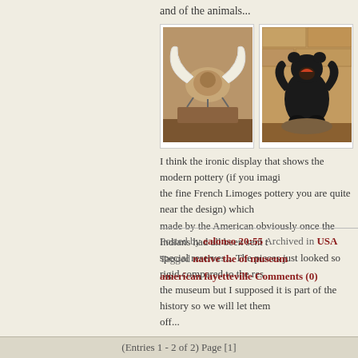and of the animals...
[Figure (photo): Mastodon or mammoth skull with large curved tusks mounted on a wooden base display in a museum]
[Figure (photo): Taxidermied black bear standing upright on a rock base against a stone wall]
I think the ironic display that shows the modern pottery (if you imagi the fine French Limoges pottery you are quite near the design) which made by the American obviously once the Indians had all been sent t special reserves... The pieces just looked so rigid compared to the res the museum but I supposed it is part of the history so we will let them off...
Posted by ealonso 20:55 Archived in USA Tagged native the of museum american fayetteville Comments (0)
(Entries 1 - 2 of 2) Page [1]